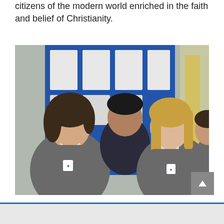citizens of the modern world enriched in the faith and belief of Christianity.
[Figure (photo): Three students in grey school uniforms with crests standing in a school corridor with blue display boards in the background. Two girls and a boy, smiling and interacting.]